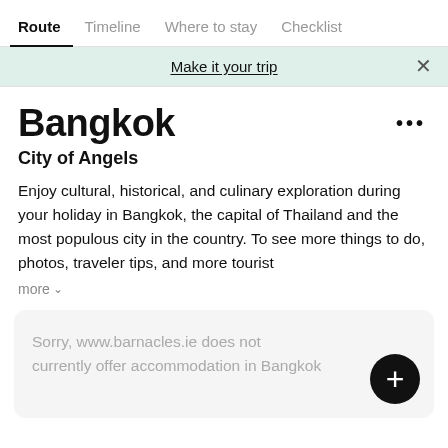Route | Timeline | Where to stay | Checklist
Make it your trip
Bangkok
City of Angels
Enjoy cultural, historical, and culinary exploration during your holiday in Bangkok, the capital of Thailand and the most populous city in the country. To see more things to do, photos, traveler tips, and more tourist
more
Sorry, www.barnacles.ie does not currently offer accommodation in Bangkok